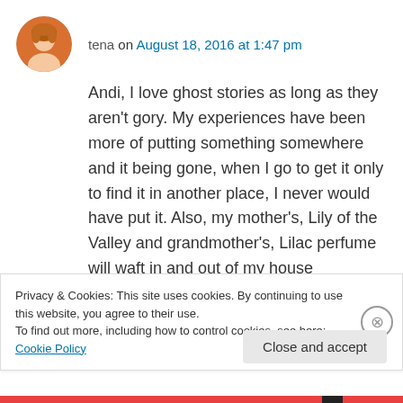tena on August 18, 2016 at 1:47 pm
Andi, I love ghost stories as long as they aren't gory. My experiences have been more of putting something somewhere and it being gone, when I go to get it only to find it in another place, I never would have put it. Also, my mother's, Lily of the Valley and grandmother's, Lilac perfume will waft in and out of my house occasionally. They both have been gone for a very long time. Sometimes
Privacy & Cookies: This site uses cookies. By continuing to use this website, you agree to their use.
To find out more, including how to control cookies, see here: Cookie Policy
Close and accept